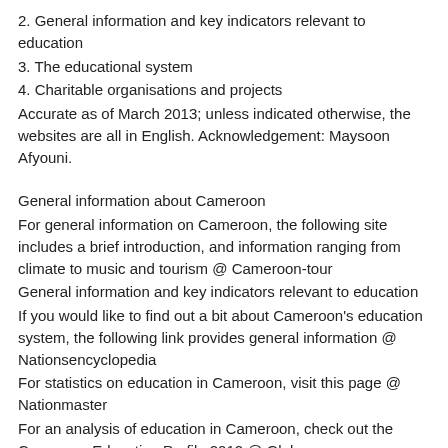2. General information and key indicators relevant to education
3. The educational system
4. Charitable organisations and projects
Accurate as of March 2013; unless indicated otherwise, the websites are all in English. Acknowledgement: Maysoon Afyouni.
General information about Cameroon
For general information on Cameroon, the following site includes a brief introduction, and information ranging from climate to music and tourism @ Cameroon-tour
General information and key indicators relevant to education
If you would like to find out a bit about Cameroon's education system, the following link provides general information @ Nationsencyclopedia
For statistics on education in Cameroon, visit this page @ Nationmaster
For an analysis of education in Cameroon, check out the Cameroon Education Profile 2012 @ Globserver